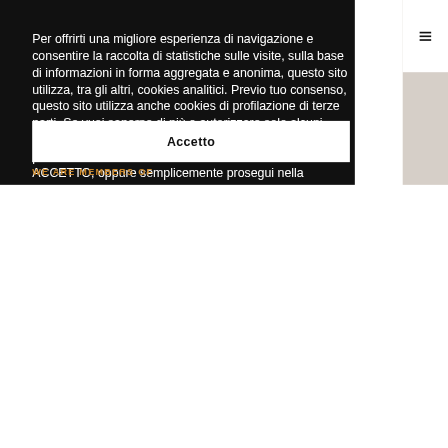Per offrirti una migliore esperienza di navigazione e consentire la raccolta di statistiche sulle visite, sulla base di informazioni in forma aggregata e anonima, questo sito utilizza, tra gli altri, cookies analitici. Previo tuo consenso, questo sito utilizza anche cookies di profilazione di terze parti. Se vuoi saperne di più o autorizzare solo alcuni utilizzi consulta la nostra informativa sui cookie. Per prestare il consenso all'uso di tutti i cookie clicca su ACCETTO, oppure semplicemente prosegui nella navigazione del sito.
Accetto
WE ARE MEMBERS OF